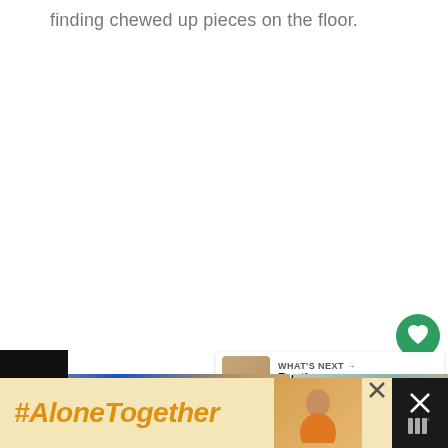finding chewed up pieces on the floor.
[Figure (screenshot): Green circular heart/favourite button icon]
[Figure (screenshot): Share button panel with share icon and app icon]
[Figure (screenshot): What's Next panel with thumbnail and text 'Rustic Valentine's...']
[Figure (photo): Two close-up photos side by side: left shows blue object on textured surface, right shows a light colored fabric/surface]
[Figure (screenshot): Advertisement banner with #AloneTogether text in orange on yellow background, with a woman photo and close/logo elements]